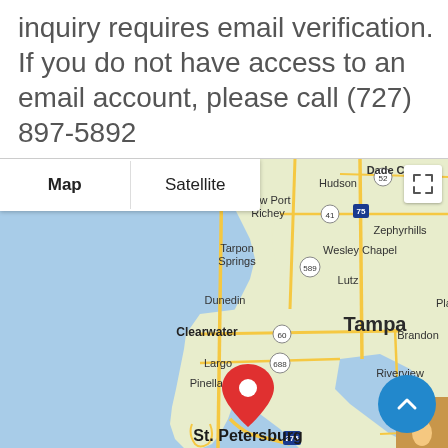inquiry requires email verification. If you do not have access to an email account, please call (727) 897-5892
[Figure (map): Google Map showing the Tampa Bay area of Florida with a red location pin on St. Petersburg. Map shows surrounding cities including Hudson, Dade City, New Port Richey, Zephyrhills, Tarpon Springs, Wesley Chapel, Lutz, Dunedin, Clearwater, Tampa, Brandon, Largo, Pinellas, Riverview, St. Petersburg. Roads including highways 52, 41, 75, 589, 60, 688, 301, 275, 62 are labeled. Map/Satellite toggle buttons visible at top left. Blue scroll-to-top button at bottom right.]